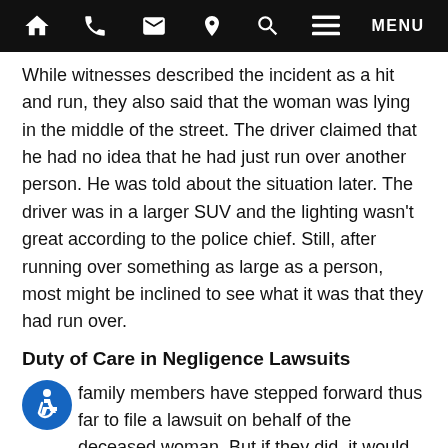Navigation bar with icons: home, phone, email, location, search, menu
While witnesses described the incident as a hit and run, they also said that the woman was lying in the middle of the street. The driver claimed that he had no idea that he had just run over another person. He was told about the situation later. The driver was in a larger SUV and the lighting wasn't great according to the police chief. Still, after running over something as large as a person, most might be inclined to see what it was that they had run over.
Duty of Care in Negligence Lawsuits
family members have stepped forward thus far to file a lawsuit on behalf of the deceased woman. But if they did, it would be a tough case to litigate. Since she